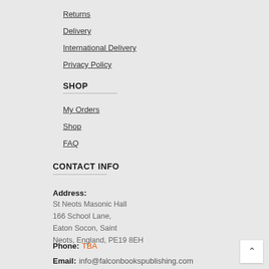Returns
Delivery
International Delivery
Privacy Policy
SHOP
My Orders
Shop
FAQ
CONTACT INFO
Address: St Neots Masonic Hall 166 School Lane, Eaton Socon, Saint Neots, England, PE19 8EH
Phone: TBA
Email: info@falconbookspublishing.com